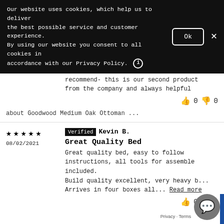Our website uses cookies, which help us to deliver the best possible service and customer experience. By using our website you consent to all cookies in accordance with our Privacy Policy.
★★★★★ 16/04/2021 | Verified Corinne S. | Ottoman | Really well made easy to assemble. Would recommend- this is our second product from the company and always helpful | about Goodwood Medium Oak Ottoman ...
★★★★★ 08/02/2021 | Verified Kevin B. | Great Quality Bed | Great quality bed, easy to follow instructions, all tools for assemble included. Build quality excellent, very heavy b... Arrives in four boxes all... Read more